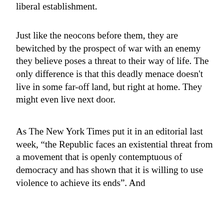liberal establishment.
Just like the neocons before them, they are bewitched by the prospect of war with an enemy they believe poses a threat to their way of life. The only difference is that this deadly menace doesn't live in some far-off land, but right at home. They might even live next door.
As The New York Times put it in an editorial last week, “the Republic faces an existential threat from a movement that is openly contemptuous of democracy and has shown that it is willing to use violence to achieve its ends”. And